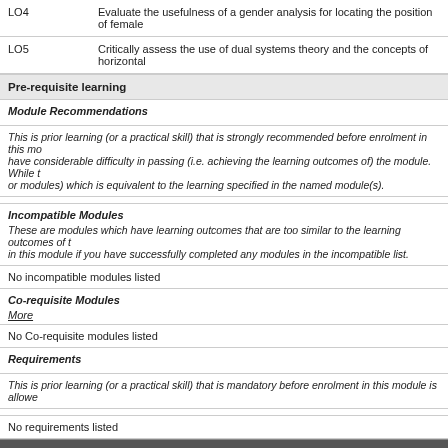| LO | Description |
| --- | --- |
| LO4 | Evaluate the usefulness of a gender analysis for locating the position of female |
| LO5 | Critically assess the use of dual systems theory and the concepts of horizontal |
Pre-requisite learning
Module Recommendations
This is prior learning (or a practical skill) that is strongly recommended before enrolment in this mo... have considerable difficulty in passing (i.e. achieving the learning outcomes of) the module. While t... or modules) which is equivalent to the learning specified in the named module(s).
Incompatible Modules
These are modules which have learning outcomes that are too similar to the learning outcomes of t... in this module if you have successfully completed any modules in the incompatible list.
No incompatible modules listed
Co-requisite Modules
More
No Co-requisite modules listed
Requirements
This is prior learning (or a practical skill) that is mandatory before enrolment in this module is allowe
No requirements listed
Module Content & Assessment
Indicative Content